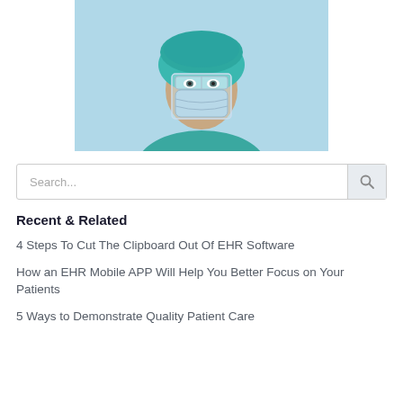[Figure (photo): Healthcare worker wearing teal surgical cap, face mask, face shield, and scrubs against light blue background]
Search...
Recent & Related
4 Steps To Cut The Clipboard Out Of EHR Software
How an EHR Mobile APP Will Help You Better Focus on Your Patients
5 Ways to Demonstrate Quality Patient Care